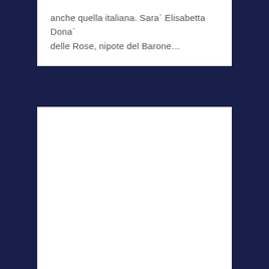anche quella italiana. Sara` Elisabetta Dona` delle Rose, nipote del Barone…
[Figure (other): Blank white card/panel area]